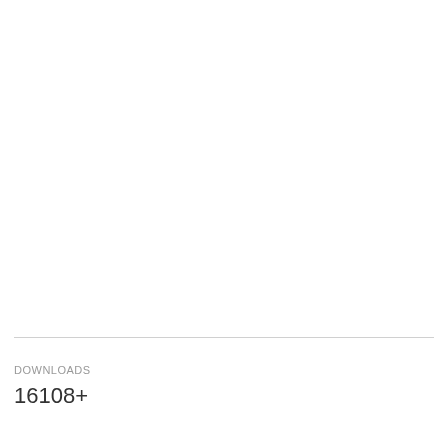[Figure (infographic): Green download button with 'Free Download' text, 'Safe download' subtitle, a vertical divider, and a download icon on the right]
DOWNLOADS
16108+